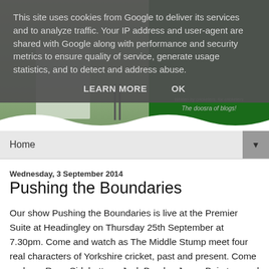[Figure (screenshot): Cricket blog header image with a cricketer near stumps on green field background, and a dark green panel on the right with italic text 'Written by cricketers, for cricketers' and 'The doosra of blogs!']
This site uses cookies from Google to deliver its services and to analyze traffic. Your IP address and user-agent are shared with Google along with performance and security metrics to ensure quality of service, generate usage statistics, and to detect and address abuse.
LEARN MORE   OK
Home ▼
Wednesday, 3 September 2014
Pushing the Boundaries
Our show Pushing the Boundaries is live at the Premier Suite at Headingley on Thursday 25th September at 7.30pm. Come and watch as The Middle Stump meet four real characters of Yorkshire cricket, past and present. Come and see Ryan Sidebottom, Jack Brooks, Jonny Bairstow and Steve Kirk talk about their careers in the game...